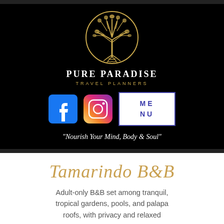[Figure (logo): Pure Paradise Travel Planners logo — golden tree of life in a circle on black background]
PURE PARADISE
TRAVEL PLANNERS
[Figure (infographic): Facebook icon, Instagram icon, and MENU button]
“Nourish Your Mind, Body & Soul”
Tamarindo B&B
Adult-only B&B set among tranquil, tropical gardens, pools, and palapa roofs, with privacy and relaxed...